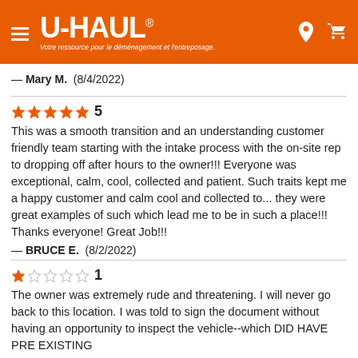U-HAUL® — Votre ressource pour le déménagement et l'entreposage.
— Mary M. (8/4/2022)
★★★★★ 5
This was a smooth transition and an understanding customer friendly team starting with the intake process with the on-site rep to dropping off after hours to the owner!!! Everyone was exceptional, calm, cool, collected and patient. Such traits kept me a happy customer and calm cool and collected to... they were great examples of such which lead me to be in such a place!!! Thanks everyone! Great Job!!!
— BRUCE E. (8/2/2022)
★☆☆☆☆ 1
The owner was extremely rude and threatening. I will never go back to this location. I was told to sign the document without having an opportunity to inspect the vehicle--which DID HAVE PRE EXISTING